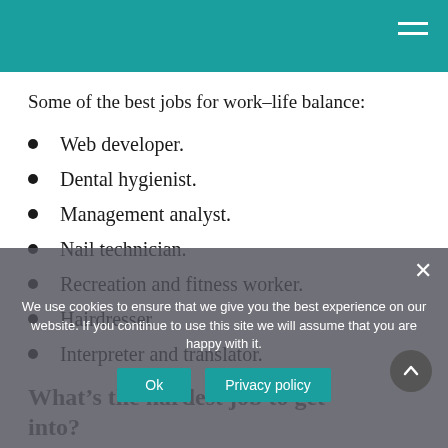Some of the best jobs for work-life balance:
Web developer.
Dental hygienist.
Management analyst.
Nail technician.
Recreation and fitness worker.
Hairdresser.
Interpreter and translator.
What's the hardest job to get into?
We use cookies to ensure that we give you the best experience on our website. If you continue to use this site we will assume that you are happy with it.